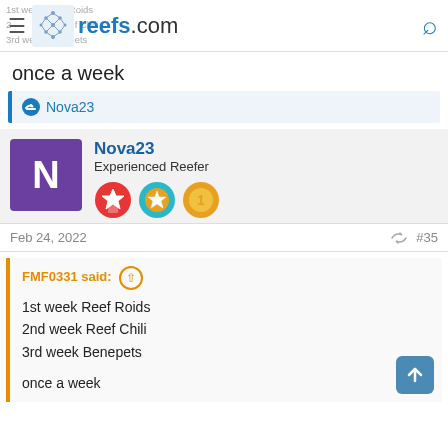reefs.com
once a week
Nova23
Nova23
Experienced Reefer
Feb 24, 2022  #35
FMF0331 said:
1st week Reef Roids
2nd week Reef Chili
3rd week Benepets

once a week